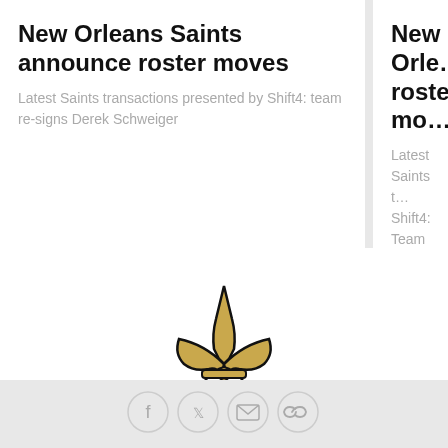New Orleans Saints announce roster moves
Latest Saints transactions presented by Shift4: team re-signs Derek Schweiger
New Orleans Saints announce roster moves
Latest Saints transactions presented by Shift4: Team ...
[Figure (logo): New Orleans Saints fleur-de-lis logo in gold and black]
[Figure (infographic): Social media share icons: Facebook, Twitter, Email, Link]